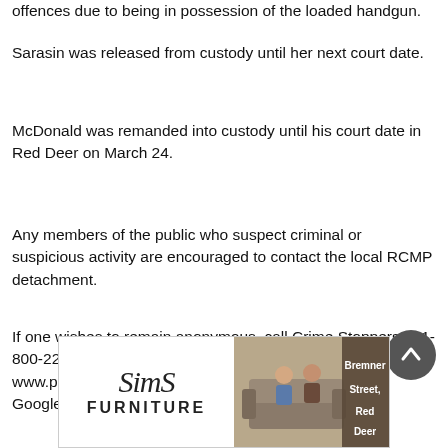offences due to being in possession of the loaded handgun.
Sarasin was released from custody until her next court date.
McDonald was remanded into custody until his court date in Red Deer on March 24.
Any members of the public who suspect criminal or suspicious activity are encouraged to contact the local RCMP detachment.
If one wishes to remain anonymous, call Crime Stoppers at 1-800-222-TIPS (8477), contact Crime Stoppers online at www.p3tips.com or vie the P3 tips app available on the Google and Apple stores.
[Figure (illustration): Sims Furniture advertisement banner with logo on left and people sitting on a sofa on the right, with text 'Bremner Street, Red Deer']